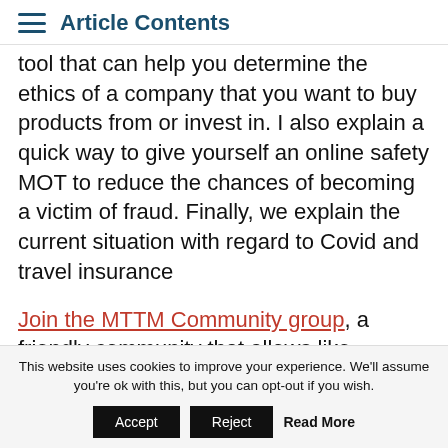Article Contents
tool that can help you determine the ethics of a company that you want to buy products from or invest in. I also explain a quick way to give yourself an online safety MOT to reduce the chances of becoming a victim of fraud. Finally, we explain the current situation with regard to Covid and travel insurance
Join the MTTM Community group, a friendly community that allows like-minded listeners to ask questions and chat.
This website uses cookies to improve your experience. We'll assume you're ok with this, but you can opt-out if you wish.